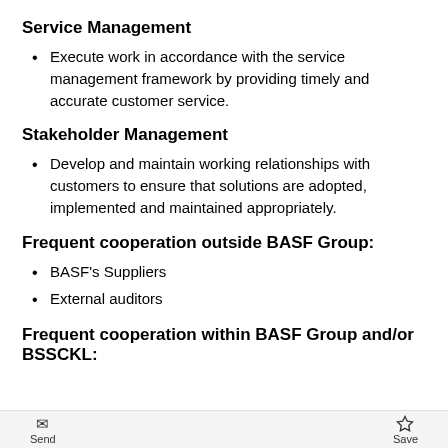Service Management
Execute work in accordance with the service management framework by providing timely and accurate customer service.
Stakeholder Management
Develop and maintain working relationships with customers to ensure that solutions are adopted, implemented and maintained appropriately.
Frequent cooperation outside BASF Group:
BASF's Suppliers
External auditors
Frequent cooperation within BASF Group and/or BSSCKL:
Send  Save